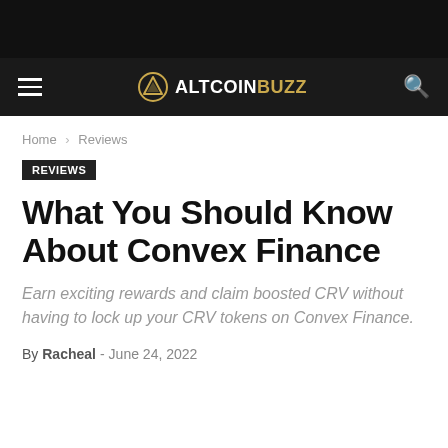ALTCOINBUZZ
Home › Reviews
REVIEWS
What You Should Know About Convex Finance
Earn exciting rewards and claim boosted CRV without having to lock up your CRV tokens on Convex Finance.
By Racheal - June 24, 2022